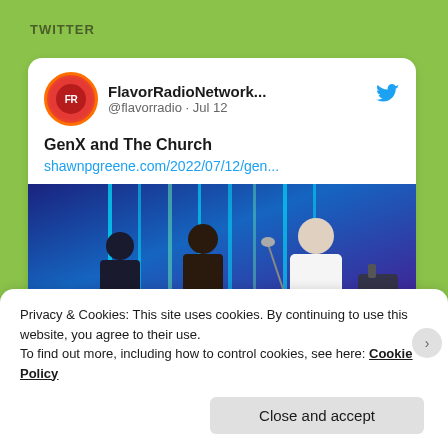TWITTER
[Figure (screenshot): Twitter/X embedded tweet card from FlavorRadioNetwork... @flavorradio dated Jul 12, with tweet text 'GenX and The Church' and a link shawnpgreene.com/2022/07/12/gen..., followed by a photo of three people on a stage with blue and purple lighting and neon light strips.]
Privacy & Cookies: This site uses cookies. By continuing to use this website, you agree to their use.
To find out more, including how to control cookies, see here: Cookie Policy
Close and accept